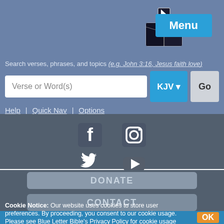[Figure (logo): Blue Letter Bible logo: open book with cursor icon above it]
Menu
Search verses, phrases, and topics (e.g. John 3:16, Jesus faith love)
Verse or Word(s)
KJV ▼
Go
Help | Quick Nav | Options
[Figure (illustration): Social media icons: Facebook, Instagram, Twitter, YouTube]
DONATE
CONTACT
Cookie Notice: Our website uses cookies to store user preferences. By proceeding, you consent to our cookie usage. Please see Blue Letter Bible's Privacy Policy for cookie usage details.
OK